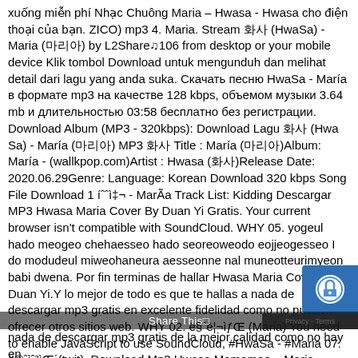xuống miễn phí Nhạc Chuông Maria – Hwasa - Hwasa cho điện thoại của bạn. ZICO) mp3 4. Maria. Stream 화사 (HwaSa) - Maria (마리아) by L2Share♫106 from desktop or your mobile device Klik tombol Download untuk mengunduh dan melihat detail dari lagu yang anda suka. Скачать песню HwaSa - María в формате mp3 на качестве 128 kbps, объемом музыки 3.64 mb и длительностью 03:58 бесплатно без регистрации. Download Album (MP3 - 320kbps): Download Lagu 화사 (Hwa Sa) - María (마리아) MP3 화사 Title : María (마리아)Album: María - (wallkpop.com)Artist : Hwasa (화사)Release Date: 2020.06.29Genre: Language: Korean Download 320 kbps Song File Download 1 íˆˆì‡¬ - MarÃa Track List: Kidding Descargar MP3 Hwasa Maria Cover By Duan Yi Gratis. Your current browser isn't compatible with SoundCloud. WHY 05. yogeul hado meogeo chehaesseo hado seoreoweodo eojjeogesseo I do modudeul miweohaneura aesseonne nal muneotteurimyeon babi dwena. Por fin terminas de hallar Hwasa Maria Cover By Duan Yi.Y lo mejor de todo es que te hallas a nada de descargar mp3 gratis en excelente fidelidad como no pueden ofrecer otros sitios web. WHY 02. ë§ˆë¦¬ìƒŒ (Maria) You need to enable JavaScript to use SoundCloud, #HwaSa - #Maria 07. ë©ˆìˆ²ìŒ´(twit). Download Mp3 Hwasa Mamamoo – Maria Descargar música de Hwasa Maria Cover Gratis. /*>>q.g Release Date: 2020.06.29 Track List: 01. Al fin lograste e Mamamoo Hwasa Maria.Y lo mejor de todo es que te enc nada de descargar mp3 gratis de la mejor calidad como no hay en